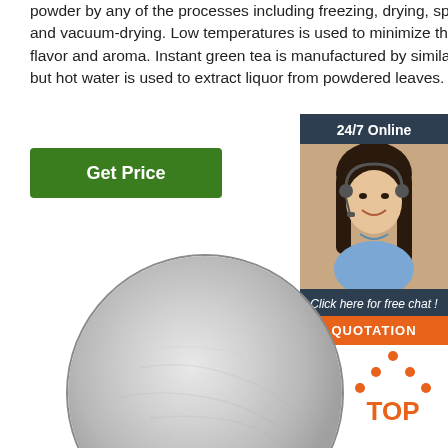powder by any of the processes including freezing, drying, spray-drying and vacuum-drying. Low temperatures is used to minimize the loss of flavor and aroma. Instant green tea is manufactured by similar methods but hot water is used to extract liquor from powdered leaves.
Get Price
[Figure (photo): Customer service representative with headset, 24/7 Online chat sidebar with QUOTATION button]
[Figure (photo): A round dish of white/grey powder]
[Figure (illustration): TOP badge with orange dots arranged in triangle above the word TOP in orange]